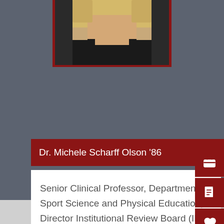[Figure (photo): Portrait photo of Dr. Michele Scharff Olson, a woman with blonde hair wearing a black top, shown from shoulders up, in a dark red bordered frame]
Dr. Michele Scharff Olson '86
Senior Clinical Professor, Department of Sport Science and Physical Education; Director Institutional Review Board (IRB) for Human Subjects Research